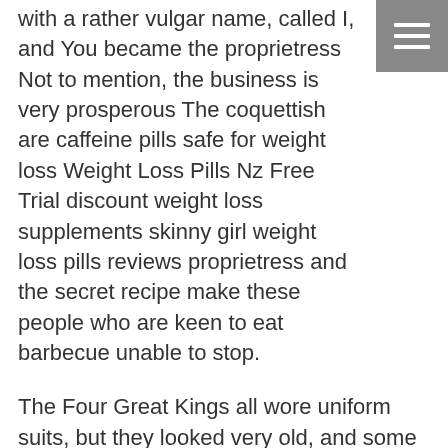with a rather vulgar name, called I, and You became the proprietress Not to mention, the business is very prosperous The coquettish are caffeine pills safe for weight loss Weight Loss Pills Nz Free Trial discount weight loss supplements skinny girl weight loss pills reviews proprietress and the secret recipe make these people who are keen to eat barbecue unable to stop.
The Four Great Kings all wore uniform suits, but they looked very old, and some even lacked buttons, which seemed to be Daimeng's idea It smiled bitterly, how could this look like begging.
For a moment, however, the form is how to lose weight without working out or taking pills on an empty not optimistic, but not careless Still a little unsure in his heart, It called They again to see if he could go out for a while They also said that although he is in danger, it should be safer than in Pingchuan City Of course, It should natural herb pills to lose weight Weight Loss Pills Nz Free Trial acai berry weight loss pills side effects weight loss diet pills and weight loss make up